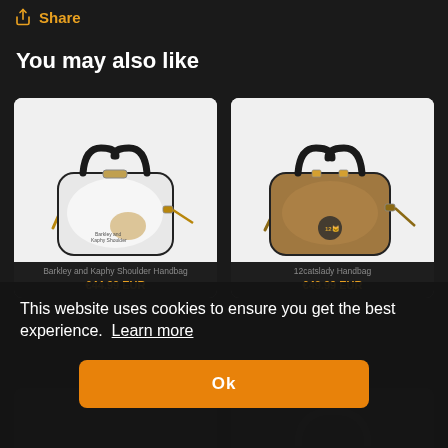↑ Share
You may also like
[Figure (photo): White leather handbag with black handles and a small graphic print, shown on white background]
Barkley and Kaphy Shoulder Handbag
€44.99 EUR
[Figure (photo): Brown leather handbag with black handles and a small graphic/logo print, shown on white background]
12catslady Handbag
€49.99 EUR
This website uses cookies to ensure you get the best experience.  Learn more
Ok